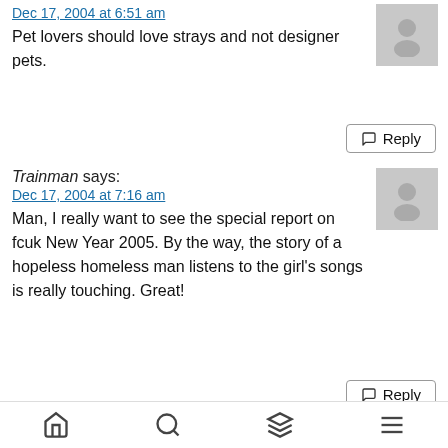Dec 17, 2004 at 6:51 am
Pet lovers should love strays and not designer pets.
Reply
Trainman says:
Dec 17, 2004 at 7:16 am
Man, I really want to see the special report on fcuk New Year 2005. By the way, the story of a hopeless homeless man listens to the girl's songs is really touching. Great!
Reply
blah says:
Dec 17, 2004 at 8:38 am